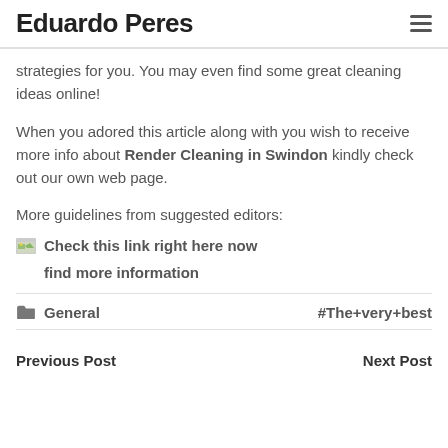Eduardo Peres
strategies for you. You may even find some great cleaning ideas online!
When you adored this article along with you wish to receive more info about Render Cleaning in Swindon kindly check out our own web page.
More guidelines from suggested editors:
Check this link right here now
find more information
General  #The+very+best
Previous Post  Next Post